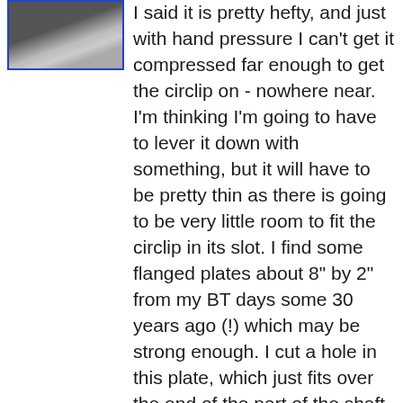[Figure (photo): Photo of a mechanical shaft/column component, showing a dark cylindrical part against a light background, framed with a blue border.]
I said it is pretty hefty, and just with hand pressure I can't get it compressed far enough to get the circlip on - nowhere near. I'm thinking I'm going to have to lever it down with something, but it will have to be pretty thin as there is going to be very little room to fit the circlip in its slot. I find some flanged plates about 8" by 2" from my BT days some 30 years ago (!) which may be strong enough. I cut a hole in this plate, which just fits over the end of the part of the shaft the circlip fits into, which is narrower than the part that the spring and a washer fits over. As I've only got two hands I stand the steering wheel end of the column on a suitable block of wood, put one end of my plate under the edge of my bench, and press down on the other end of the plate with a hand. It's compressing OK, but the problem is the washer is catching on the shoulder of the shaft, and as I'm levering rather than a straight press it is proving impossible to keep this washer aligned with the larger diameter it is supposed to go over while I'm levering. Go and gaze at my various bits again, and see an old